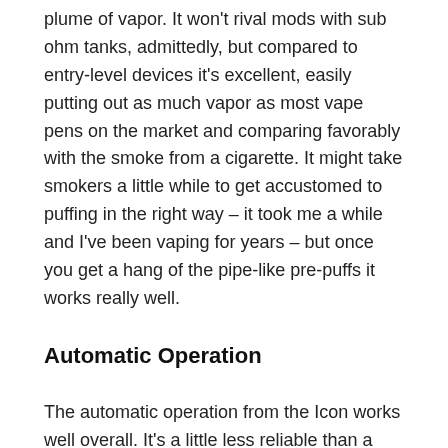plume of vapor. It won't rival mods with sub ohm tanks, admittedly, but compared to entry-level devices it's excellent, easily putting out as much vapor as most vape pens on the market and comparing favorably with the smoke from a cigarette. It might take smokers a little while to get accustomed to puffing in the right way – it took me a while and I've been vaping for years – but once you get a hang of the pipe-like pre-puffs it works really well.
Automatic Operation
The automatic operation from the Icon works well overall. It's a little less reliable than a button-operated system, because you need to keep the flow of air up for the coil to respond, but as long as you inhale fairly firmly it works reliably. Sometimes the device didn't respond when I took a puff, but it was when I first started using the device and getting used to it. Originally I thought there might have been